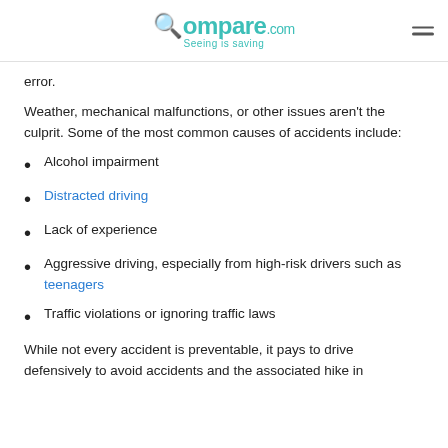Compare.com — Seeing is saving
error.
Weather, mechanical malfunctions, or other issues aren't the culprit. Some of the most common causes of accidents include:
Alcohol impairment
Distracted driving
Lack of experience
Aggressive driving, especially from high-risk drivers such as teenagers
Traffic violations or ignoring traffic laws
While not every accident is preventable, it pays to drive defensively to avoid accidents and the associated hike in